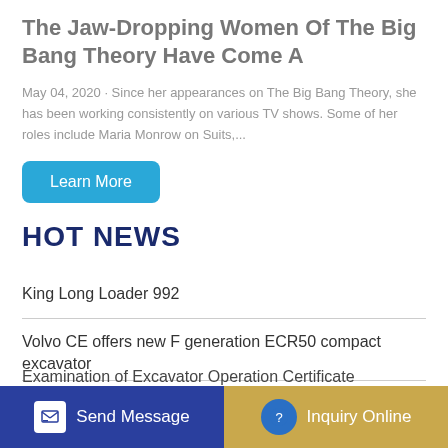The Jaw-Dropping Women Of The Big Bang Theory Have Come A
May 04, 2020 · Since her appearances on The Big Bang Theory, she has been working consistently on various TV shows. Some of her roles include Maria Monrow on Suits,...
Learn More
HOT NEWS
King Long Loader 992
Volvo CE offers new F generation ECR50 compact excavator
Examination of Excavator Operation Certificate
Send Message
Inquiry Online